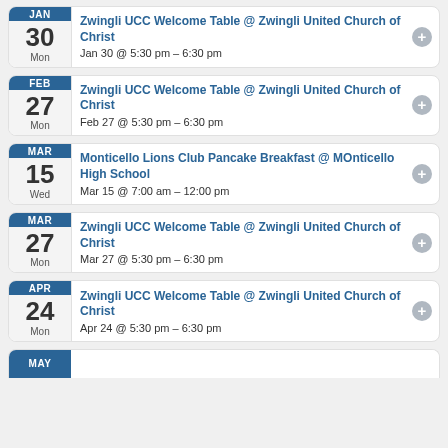Zwingli UCC Welcome Table @ Zwingli United Church of Christ
Jan 30 @ 5:30 pm – 6:30 pm
Zwingli UCC Welcome Table @ Zwingli United Church of Christ
Feb 27 @ 5:30 pm – 6:30 pm
Monticello Lions Club Pancake Breakfast @ MOnticello High School
Mar 15 @ 7:00 am – 12:00 pm
Zwingli UCC Welcome Table @ Zwingli United Church of Christ
Mar 27 @ 5:30 pm – 6:30 pm
Zwingli UCC Welcome Table @ Zwingli United Church of Christ
Apr 24 @ 5:30 pm – 6:30 pm